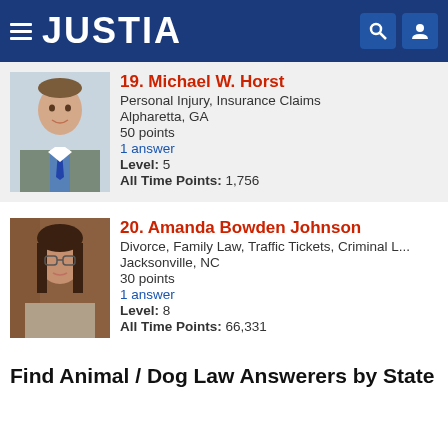JUSTIA
19. Michael W. Horst
Personal Injury, Insurance Claims
Alpharetta, GA
50 points
1 answer
Level: 5
All Time Points: 1,756
20. Amanda Bowden Johnson
Divorce, Family Law, Traffic Tickets, Criminal L...
Jacksonville, NC
30 points
1 answer
Level: 8
All Time Points: 66,331
Find Animal / Dog Law Answerers by State